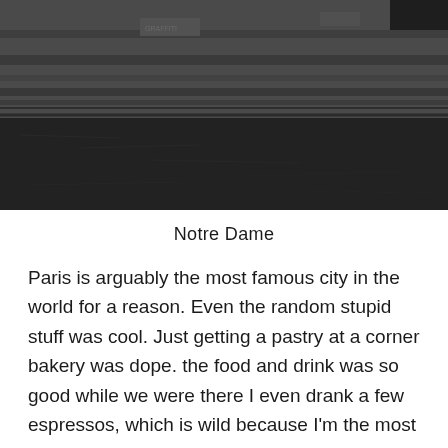[Figure (photo): Dark photo of a stone bridge or wall over a river, with graffiti visible on the stone surface. The water below is dark and the scene appears to be overcast.]
Notre Dame
Paris is arguably the most famous city in the world for a reason. Even the random stupid stuff was cool. Just getting a pastry at a corner bakery was dope. the food and drink was so good while we were there I even drank a few espressos, which is wild because I'm the most anti coffee person you'll ever meet. The cherry on the top was the people. You always hear that french people, and especially Parisians are the rudest people in the world. I have a feeling the British